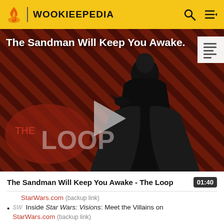WOOKIEEPEDIA
[Figure (screenshot): Video thumbnail showing a dark-caped figure against a red and black diagonal striped background with 'THE LOOP' overlay text and a play button in the center. Title text reads 'The Sandman Will Keep You Awake.' overlaid at the top.]
The Sandman Will Keep You Awake - The Loop  01:40
StarWars.com (backup link)
SW Inside Star Wars: Visions: Meet the Villains on StarWars.com (backup link)